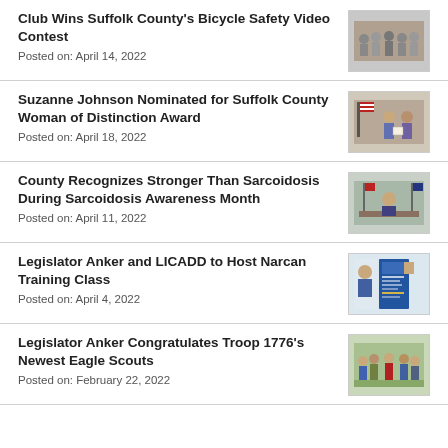Club Wins Suffolk County's Bicycle Safety Video Contest
Posted on: April 14, 2022
[Figure (photo): Group photo of people holding certificates]
Suzanne Johnson Nominated for Suffolk County Woman of Distinction Award
Posted on: April 18, 2022
[Figure (photo): Two people posing with a certificate near an American flag]
County Recognizes Stronger Than Sarcoidosis During Sarcoidosis Awareness Month
Posted on: April 11, 2022
[Figure (photo): Person seated at a desk with flags in the background]
Legislator Anker and LICADD to Host Narcan Training Class
Posted on: April 4, 2022
[Figure (photo): Promotional flyer for Narcan Training Class event]
Legislator Anker Congratulates Troop 1776's Newest Eagle Scouts
Posted on: February 22, 2022
[Figure (photo): Group photo of Eagle Scouts and officials outdoors]